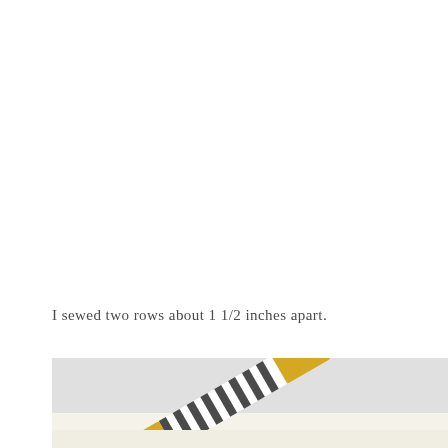I sewed two rows about 1 1/2 inches apart.
[Figure (photo): Photo of a striped fabric item (pencil case or roll) with yellow/mustard ends and black-and-white stripe pattern, lying diagonally on a light gray and white surface.]